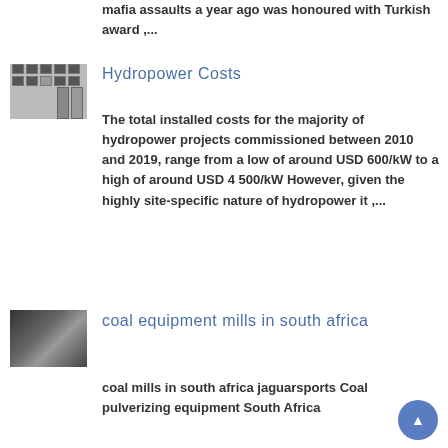mafia assaults a year ago was honoured with Turkish award ,...
[Figure (photo): Thumbnail image of hydropower equipment]
Hydropower Costs
The total installed costs for the majority of hydropower projects commissioned between 2010 and 2019, range from a low of around USD 600/kW to a high of around USD 4 500/kW However, given the highly site-specific nature of hydropower it ,...
[Figure (photo): Thumbnail image of coal equipment mills]
coal equipment mills in south africa
coal mills in south africa jaguarsports Coal pulverizing equipment South Africa